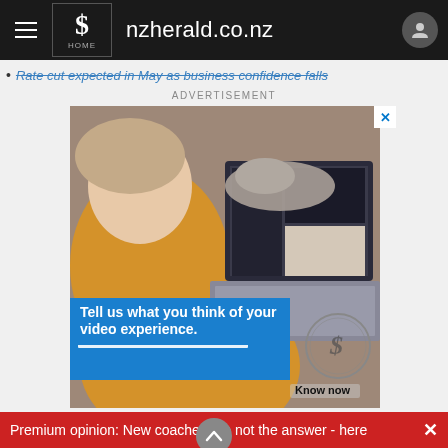nzherald.co.nz
Rate cut expected in May as business confidence falls
ADVERTISEMENT
[Figure (photo): Advertisement banner showing a woman in a yellow sweater using a laptop with a cat beside her. Overlay text reads: Tell us what you think of your video experience. Know now. NZ Herald logo circle visible.]
Advertise with NZME.
Whilst households may ha⋅reathed a sigh of relief as
Premium opinion: New coaches are not the answer - here